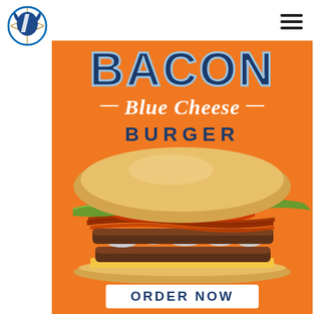[Figure (logo): Dallas Mavericks logo - circular basketball team logo with white and blue maverick horse head]
[Figure (infographic): Bacon Blue Cheese Burger advertisement on orange background. Large blocky text reads BACON at top in navy blue with light blue outline. Script text reads Blue Cheese with dashes on either side. Bold uppercase text reads BURGER. Large photo of a layered burger with bun, lettuce, tomato, bacon, blue cheese, beef patties, and yellow cheese on bottom bun. White ORDER NOW button at bottom.]